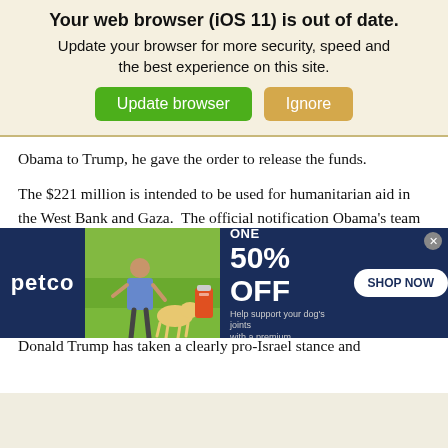[Figure (screenshot): Browser update notification banner with title 'Your web browser (iOS 11) is out of date.' and subtitle 'Update your browser for more security, speed and the best experience on this site.' with two buttons: 'Update browser' (green) and 'Ignore' (tan/gold)]
Obama to Trump, he gave the order to release the funds.
The $221 million is intended to be used for humanitarian aid in the West Bank and Gaza.  The official notification Obama's team sent to congress claimed it would “support political and security reforms as well as help prepare for good governance and the rule of law in a future Palestinian state.”
Obama clearly felt the need to push the funding through, as Donald Trump has taken a clearly pro-Israel stance and
[Figure (screenshot): Petco advertisement banner: 'BUY ONE, GET ONE 50% OFF - Help support your dog's joints with a premium supplement. SHOP NOW']